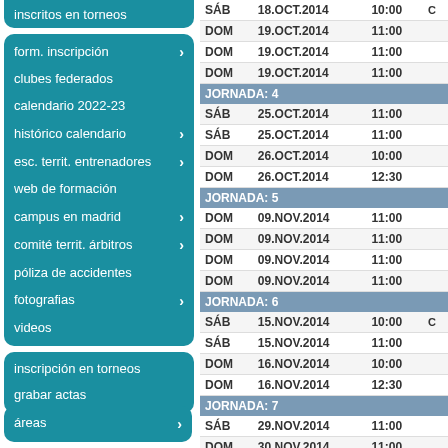inscritos en torneos (partial, top)
form. inscripción
clubes federados
calendario 2022-23
histórico calendario
esc. territ. entrenadores
web de formación
campus en madrid
comité territ. árbitros
póliza de accidentes
fotografias
videos
inscripción en torneos
grabar actas
áreas
| Day | Date | Time |  |
| --- | --- | --- | --- |
| SÁB | 18.OCT.2014 | 10:00 | C |
| DOM | 19.OCT.2014 | 11:00 |  |
| DOM | 19.OCT.2014 | 11:00 |  |
| DOM | 19.OCT.2014 | 11:00 |  |
| JORNADA: 4 |  |  |  |
| SÁB | 25.OCT.2014 | 11:00 |  |
| SÁB | 25.OCT.2014 | 11:00 |  |
| DOM | 26.OCT.2014 | 10:00 |  |
| DOM | 26.OCT.2014 | 12:30 |  |
| JORNADA: 5 |  |  |  |
| DOM | 09.NOV.2014 | 11:00 |  |
| DOM | 09.NOV.2014 | 11:00 |  |
| DOM | 09.NOV.2014 | 11:00 |  |
| DOM | 09.NOV.2014 | 11:00 |  |
| JORNADA: 6 |  |  |  |
| SÁB | 15.NOV.2014 | 10:00 | C |
| SÁB | 15.NOV.2014 | 11:00 |  |
| DOM | 16.NOV.2014 | 10:00 |  |
| DOM | 16.NOV.2014 | 12:30 |  |
| JORNADA: 7 |  |  |  |
| SÁB | 29.NOV.2014 | 11:00 |  |
| DOM | 30.NOV.2014 | 11:00 |  |
| DOM | 30.NOV.2014 | 11:00 |  |
| DOM | 30.NOV.2014 | 11:00 |  |